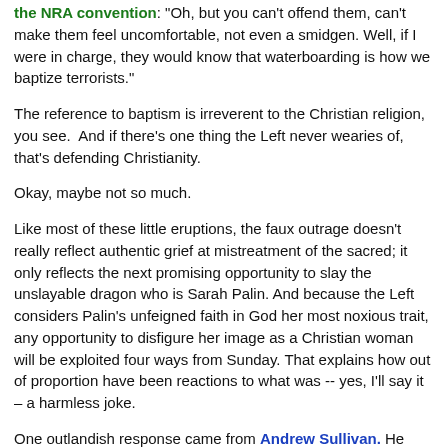the NRA convention: "Oh, but you can't offend them, can't make them feel uncomfortable, not even a smidgen. Well, if I were in charge, they would know that waterboarding is how we baptize terrorists."
The reference to baptism is irreverent to the Christian religion, you see.  And if there's one thing the Left never wearies of, that's defending Christianity.
Okay, maybe not so much.
Like most of these little eruptions, the faux outrage doesn't really reflect authentic grief at mistreatment of the sacred; it only reflects the next promising opportunity to slay the unslayable dragon who is Sarah Palin. And because the Left considers Palin's unfeigned faith in God her most noxious trait, any opportunity to disfigure her image as a Christian woman will be exploited four ways from Sunday. That explains how out of proportion have been reactions to what was -- yes, I'll say it – a harmless joke.
One outlandish response came from Andrew Sullivan. He describes the remark as invoking "torture in the context of a